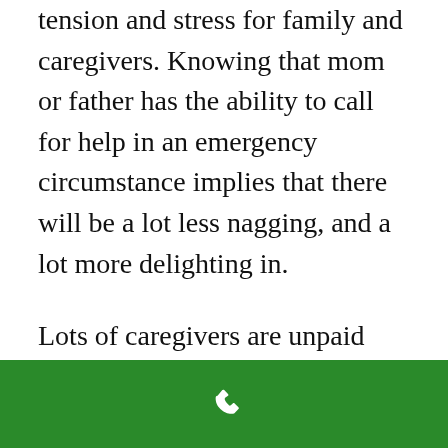tension and stress for family and caregivers. Knowing that mom or father has the ability to call for help in an emergency circumstance implies that there will be a lot less nagging, and a lot more delighting in.
Lots of caregivers are unpaid member of the family trying to handle the tensions of their own life, career, and household, with that of taking care of a loved ones. A tracking system can assist take some of the
[Figure (other): Green navigation bar at the bottom with a white phone/call icon in the center]